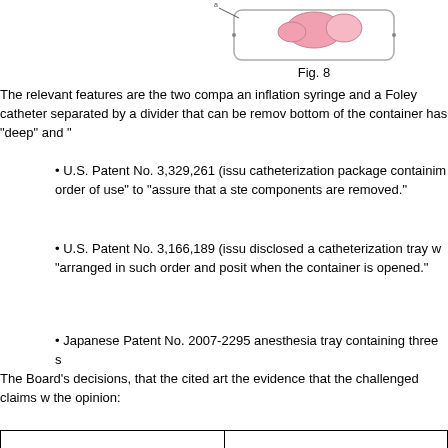[Figure (illustration): Medical device illustration showing a container with compartments, partially visible at top of page (Fig. 8)]
Fig. 8
The relevant features are the two compa an inflation syringe and a Foley catheter separated by a divider that can be remov bottom of the container has "deep" and "
U.S. Patent No. 3,329,261 (issu catheterization package containim order of use" to "assure that a ste components are removed."
U.S. Patent No. 3,166,189 (issu disclosed a catheterization tray w "arranged in such order and posit when the container is opened."
Japanese Patent No. 2007-2295 anesthesia tray containing three s
The Board's decisions, that the cited art the evidence that the challenged claims w the opinion:
|  |  |